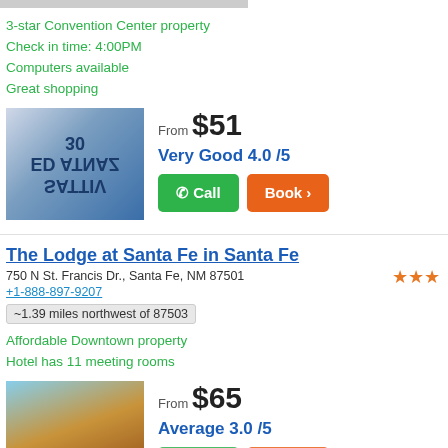[Figure (photo): Partial hotel image bar at top (grey/clipped)]
3-star Convention Center property
Check in time: 4:00PM
Computers available
Great shopping
[Figure (photo): Hotel image showing reflected sign reading VILLAS DE SANTA FE]
From $51
Very Good 4.0 /5
Call | Book
The Lodge at Santa Fe in Santa Fe
750 N St. Francis Dr., Santa Fe, NM 87501
+1-888-897-9207
~1.39 miles northwest of 87503
Affordable Downtown property
Hotel has 11 meeting rooms
[Figure (photo): The Lodge at Santa Fe building exterior at dusk]
From $65
Average 3.0 /5